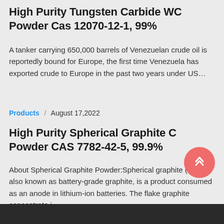High Purity Tungsten Carbide WC Powder Cas 12070-12-1, 99%
A tanker carrying 650,000 barrels of Venezuelan crude oil is reportedly bound for Europe, the first time Venezuela has exported crude to Europe in the past two years under US…
Products / August 17,2022
High Purity Spherical Graphite C Powder CAS 7782-42-5, 99.9%
About Spherical Graphite Powder:Spherical graphite (SPG), also known as battery-grade graphite, is a product consumed as an anode in lithium-ion batteries. The flake graphite concentrate i…